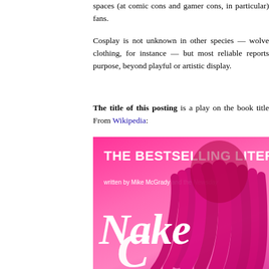spaces (at comic cons and gamer cons, in particular) fans.
Cosplay is not unknown in other species — wolves clothing, for instance — but most reliable reports purpose, beyond playful or artistic display.
The title of this posting is a play on the book title From Wikipedia:
[Figure (photo): Book cover for 'The Bestselling Liter...' written by Mike McGrady and the Newsday..., showing the title 'Naked C...' on a bright pink background with a figure with pink/magenta hair visible from behind.]